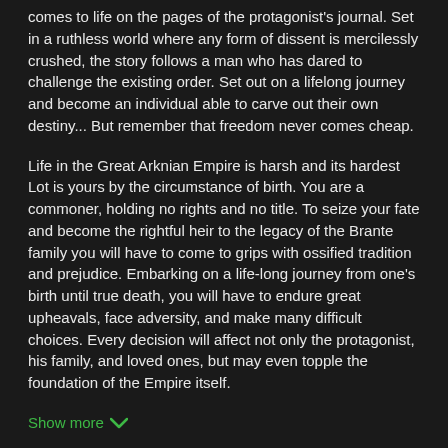comes to life on the pages of the protagonist's journal. Set in a ruthless world where any form of dissent is mercilessly crushed, the story follows a man who has dared to challenge the existing order. Set out on a lifelong journey and become an individual able to carve out their own destiny... But remember that freedom never comes cheap.
Life in the Great Arknian Empire is harsh and its hardest Lot is yours by the circumstance of birth. You are a commoner, holding no rights and no title. To seize your fate and become the rightful heir to the legacy of the Brante family you will have to come to grips with ossified tradition and prejudice. Embarking on a life-long journey from one's birth until true death, you will have to endure great upheavals, face adversity, and make many difficult choices. Every decision will affect not only the protagonist, his family, and loved ones, but may even topple the foundation of the Empire itself.
Show more